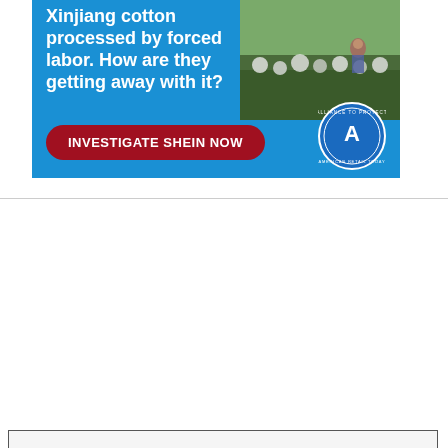[Figure (infographic): Advertisement banner with blue background showing text 'Xinjiang cotton processed by forced labor. How are they getting away with it?' with a red 'INVESTIGATE SHEIN NOW' button and Alliance to Protect American Retail Today circular badge logo, and a photo of cotton field workers.]
We Use Cookies and Related Technology
Slate and our partners use cookies and related technology to deliver relevant advertising on our site, in emails and across the Internet. We and our partners also use these technologies to personalize content and perform site analytics. For more information, see our terms and privacy policy. Privacy Policy
OK